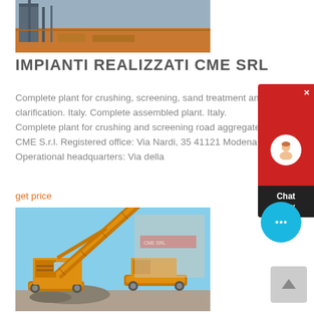[Figure (photo): Industrial plant construction site with machinery and red soil ground]
IMPIANTI REALIZZATI CME SRL
Complete plant for crushing, screening, sand treatment and clarification. Italy. Complete assembled plant. Italy. Complete plant for crushing and screening road aggregates. CME S.r.l. Registered office: Via Nardi, 35 41121 Modena. Operational headquarters: Via della
get price
[Figure (photo): Yellow mobile crushing and screening machine on construction site with blue sky background]